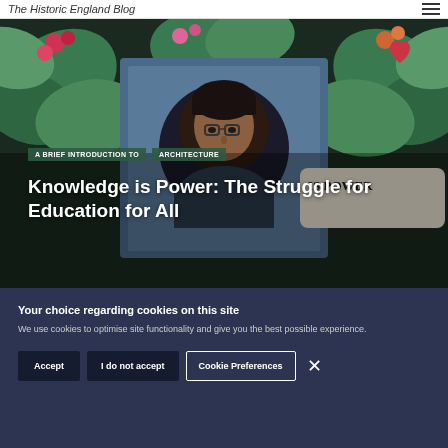The Historic England Blog
[Figure (photo): Stained glass window artwork featuring a person wearing glasses, surrounded by green leaves, red and orange berries/flowers, with text 'IS POWER' visible on the right side]
A BRIEF INTRODUCTION TO  ARCHITECTURE
Knowledge is Power: The Struggle for Education for All
BY PETER WOLSTENCROFT  23 SEPTEMBER 2021  COMMENTS 2
Your choice regarding cookies on this site
We use cookies to optimise site functionality and give you the best possible experience.
Accept  I do not accept  Cookie Preferences  ×